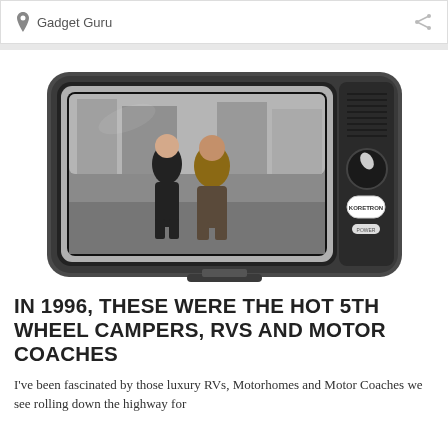Gadget Guru
[Figure (photo): Retro-style television set frame containing a black-and-white photo of two men walking on a city street with tall buildings in the background.]
IN 1996, THESE WERE THE HOT 5TH WHEEL CAMPERS, RVS AND MOTOR COACHES
I've been fascinated by those luxury RVs, Motorhomes and Motor Coaches we see rolling down the highway for